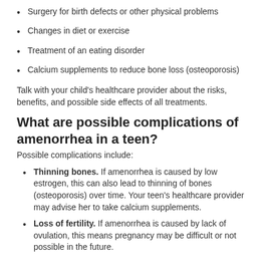Surgery for birth defects or other physical problems
Changes in diet or exercise
Treatment of an eating disorder
Calcium supplements to reduce bone loss (osteoporosis)
Talk with your child’s healthcare provider about the risks, benefits, and possible side effects of all treatments.
What are possible complications of amenorrhea in a teen?
Possible complications include:
Thinning bones. If amenorrhea is caused by low estrogen, this can also lead to thinning of bones (osteoporosis) over time. Your teen’s healthcare provider may advise her to take calcium supplements.
Loss of fertility. If amenorrhea is caused by lack of ovulation, this means pregnancy may be difficult or not possible in the future.